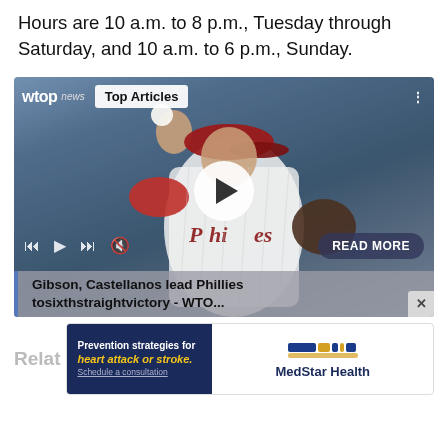Hours are 10 a.m. to 8 p.m., Tuesday through Saturday, and 10 a.m. to 6 p.m., Sunday.
[Figure (screenshot): WTOP News video player showing a Philadelphia Phillies baseball pitcher mid-throw, with a 'Top Articles' badge, play button overlay, media controls, a 'READ MORE' button, and a caption reading 'Gibson, Castellanos lead Philliestosixthstraightvictory - WTO...']
Relat
[Figure (other): MedStar Health advertisement: 'Prevention strategies for heart attack or stroke. Schedule a consultation.' with MedStar Health logo.]